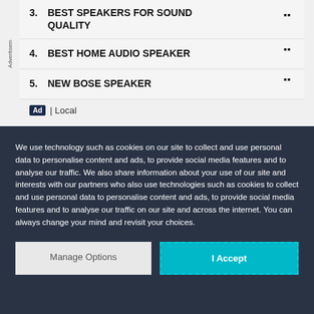3. BEST SPEAKERS FOR SOUND QUALITY
4. BEST HOME AUDIO SPEAKER
5. NEW BOSE SPEAKER
Ad | Local
We use technology such as cookies on our site to collect and use personal data to personalise content and ads, to provide social media features and to analyse our traffic. We also share information about your use of our site and interests with our partners who also use technologies such as cookies to collect and use personal data to personalise content and ads, to provide social media features and to analyse our traffic on our site and across the internet. You can always change your mind and revisit your choices.
Manage Options
I Accept